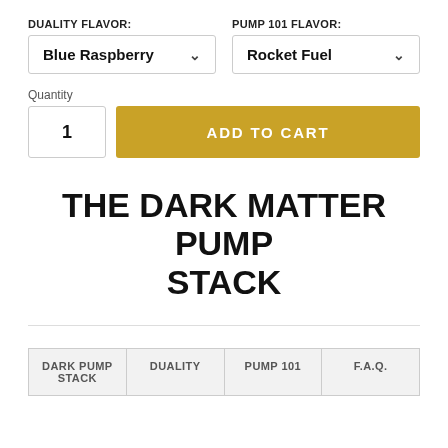DUALITY Flavor:
PUMP 101 Flavor:
Blue Raspberry
Rocket Fuel
Quantity
1
ADD TO CART
THE DARK MATTER PUMP STACK
DARK PUMP STACK
DUALITY
PUMP 101
F.A.Q.